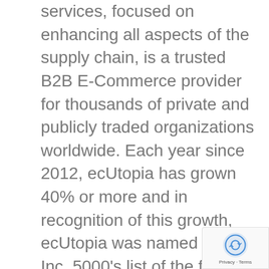services, focused on enhancing all aspects of the supply chain, is a trusted B2B E-Commerce provider for thousands of private and publicly traded organizations worldwide. Each year since 2012, ecUtopia has grown 40% or more and in recognition of this growth, ecUtopia was named to the Inc. 5000's list of the fastest growing companies in the United States for 2018. ecUtopia's employees are regularly nominated for industry and trade organization awards by its customers for their outstanding support and customer service.  For more information, visit http://www.truecommerce.ecutopia.com.
[Figure (other): reCAPTCHA privacy badge in bottom-right corner showing the reCAPTCHA logo and 'Privacy - Terms' text]